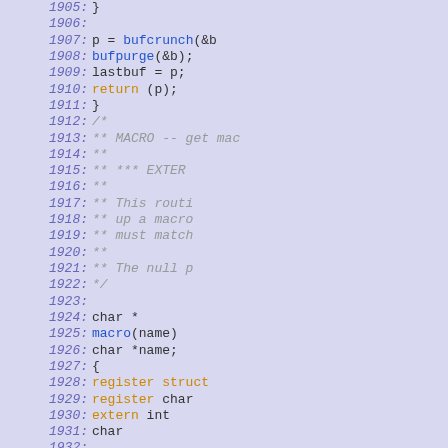[Figure (screenshot): Source code listing with line numbers 1905-1934, showing C code for bufcrunch/bufpurge and macro function. Line numbers in italic blue on left, code in black/blue/orange/gray on right.]